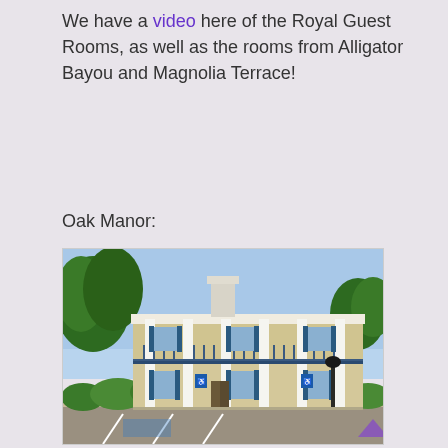We have a video here of the Royal Guest Rooms, as well as the rooms from Alligator Bayou and Magnolia Terrace!
Oak Manor:
[Figure (photo): Exterior photo of Oak Manor building at Disney's Port Orleans Riverside resort — a two-story white colonial-style building with large white columns, blue shutters, balconies with railings, surrounded by lush green shrubs and trees under a blue sky. Parking lot with blue accessibility signs and pavement markings visible in foreground.]